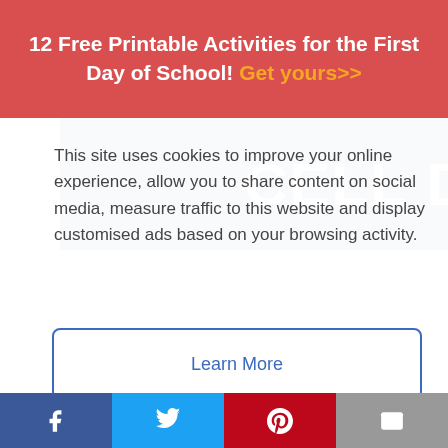12 Free Printable Activities for the First Day of School! Get yours>>
[Figure (screenshot): Blue banner with white bold uppercase text 'CELL DIVISION']
This site uses cookies to improve your online experience, allow you to share content on social media, measure traffic to this website and display customised ads based on your browsing activity.
Learn More
Accept
[Figure (photo): Dark blue background with a green circular cell illustration and a red marker, partial cell division educational image]
Facebook | Twitter | Pinterest | Email social share bar